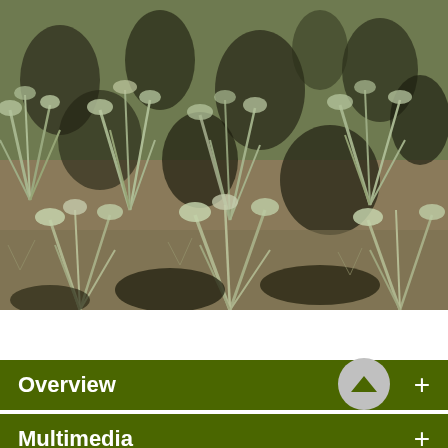[Figure (photo): Close-up photograph of dense sagebrush shrubs with silvery-green foliage, showing multiple bushy plants with dark shadows between them against a natural desert landscape background.]
Overview +
Multimedia +